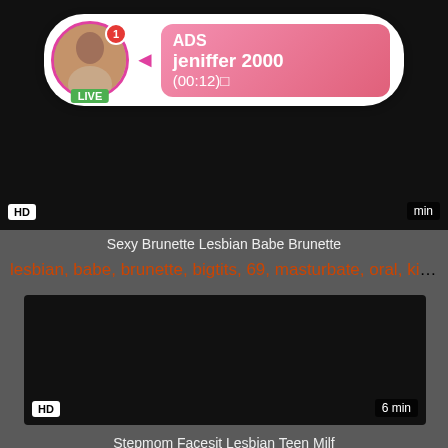[Figure (screenshot): Video thumbnail top - dark/black thumbnail with HD badge and duration, with live ad overlay showing avatar of woman, LIVE badge, ADS label, jeniffer 2000 name, (00:12) time]
Sexy Brunette Lesbian Babe Brunette
lesbian, babe, brunette, bigtits, 69, masturbate, oral, kiss,...
[Figure (screenshot): Video thumbnail bottom - dark/black thumbnail with HD badge and 6 min duration label]
Stepmom Facesit Lesbian Teen Milf